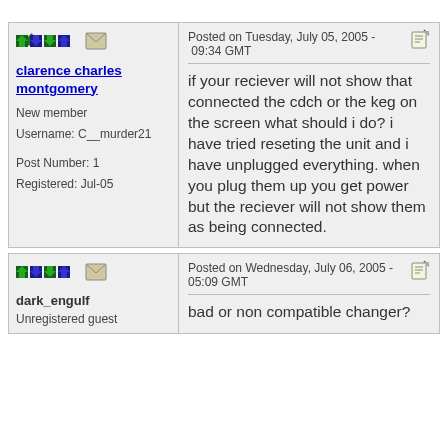Posted on Tuesday, July 05, 2005 - 09:34 GMT
clarence charles montgomery
New member
Username: C__murder21
Post Number: 1
Registered: Jul-05

if your reciever will not show that connected the cdch or the keg on the screen what should i do? i have tried reseting the unit and i have unplugged everything. when you plug them up you get power but the reciever will not show them as being connected.
Posted on Wednesday, July 06, 2005 - 05:09 GMT
dark_engulf
Unregistered guest

bad or non compatible changer?